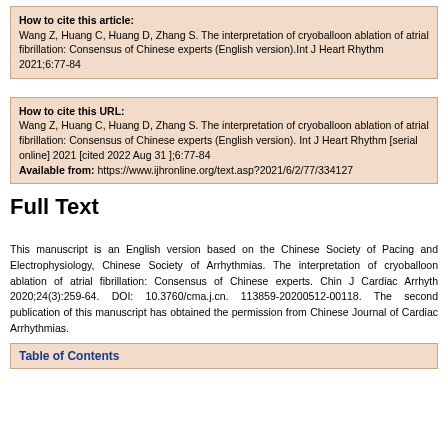How to cite this article: Wang Z, Huang C, Huang D, Zhang S. The interpretation of cryoballoon ablation of atrial fibrillation: Consensus of Chinese experts (English version).Int J Heart Rhythm 2021;6:77-84
How to cite this URL: Wang Z, Huang C, Huang D, Zhang S. The interpretation of cryoballoon ablation of atrial fibrillation: Consensus of Chinese experts (English version). Int J Heart Rhythm [serial online] 2021 [cited 2022 Aug 31 ];6:77-84 Available from: https://www.ijhronline.org/text.asp?2021/6/2/77/334127
Full Text
This manuscript is an English version based on the Chinese Society of Pacing and Electrophysiology, Chinese Society of Arrhythmias. The interpretation of cryoballoon ablation of atrial fibrillation: Consensus of Chinese experts. Chin J Cardiac Arrhyth 2020;24(3):259-64. DOI: 10.3760/cma.j.cn. 113859-20200512-00118. The second publication of this manuscript has obtained the permission from Chinese Journal of Cardiac Arrhythmias.
Table of Contents